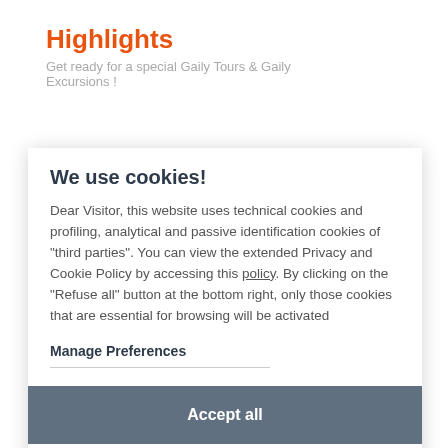Highlights
Get ready for a special Gaily Tours & Gaily Excursions !
We use cookies!
Dear Visitor, this website uses technical cookies and profiling, analytical and passive identification cookies of "third parties". You can view the extended Privacy and Cookie Policy by accessing this policy. By clicking on the "Refuse all" button at the bottom right, only those cookies that are essential for browsing will be activated
Manage Preferences
Accept all
GAY DUBROVNIK
Refuse all
ABOUT THE CITY...
The 'Pearl of the Adriatic' was named a 'World Heritage Site'